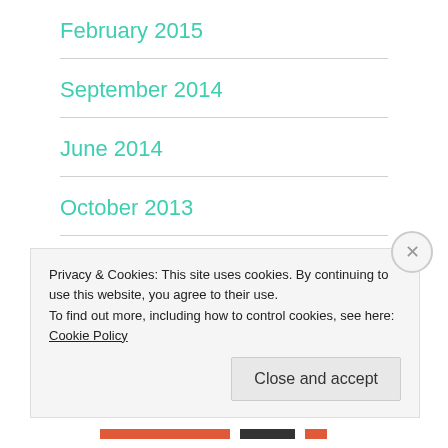February 2015
September 2014
June 2014
October 2013
August 2013
May 2013
Privacy & Cookies: This site uses cookies. By continuing to use this website, you agree to their use.
To find out more, including how to control cookies, see here: Cookie Policy
Close and accept